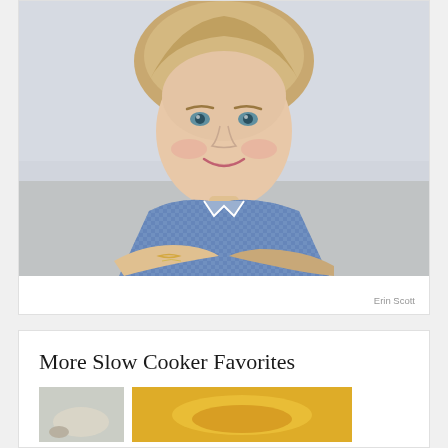[Figure (photo): Portrait photo of a smiling woman with short blonde hair wearing a blue gingham/checkered shirt, leaning forward with arms crossed, photographed against a light background.]
Erin Scott
More Slow Cooker Favorites
[Figure (photo): Two small thumbnail images at the bottom of the page, partially visible. Left thumbnail appears to show a light-colored food item. Right thumbnail shows a golden/yellow colored food dish.]